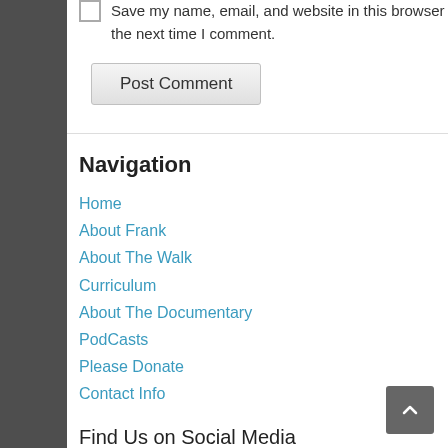Save my name, email, and website in this browser for the next time I comment.
Post Comment
Navigation
Home
About Frank
About The Walk
Curriculum
About The Documentary
PodCasts
Please Donate
Contact Info
Find Us on Social Media
[Figure (infographic): Social media icon buttons: Facebook, Twitter, Email, YouTube, Instagram, Globe/Web, Mobile]